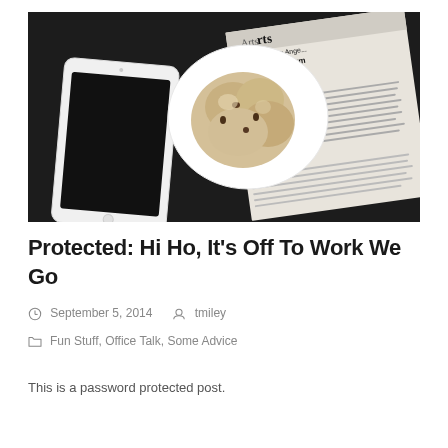[Figure (photo): Overhead flat-lay photo on dark background showing a white tablet/iPad face down, a white scalloped bowl with a pastry/scone, and a folded newspaper (Los Angeles Times) with visible headline 'Los Angeles Museum Director To Resign']
Protected: Hi Ho, It’s Off To Work We Go
September 5, 2014    tmiley
Fun Stuff, Office Talk, Some Advice
This is a password protected post.